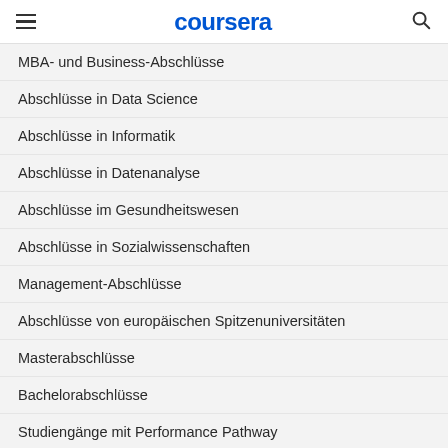coursera
MBA- und Business-Abschlüsse
Abschlüsse in Data Science
Abschlüsse in Informatik
Abschlüsse in Datenanalyse
Abschlüsse im Gesundheitswesen
Abschlüsse in Sozialwissenschaften
Management-Abschlüsse
Abschlüsse von europäischen Spitzenuniversitäten
Masterabschlüsse
Bachelorabschlüsse
Studiengänge mit Performance Pathway
BSc-Kurse
Was ist ein Bachelorabschluss?
Wie lange dauert ein Masterstudium?
Lohnt sich ein Online-MBA?